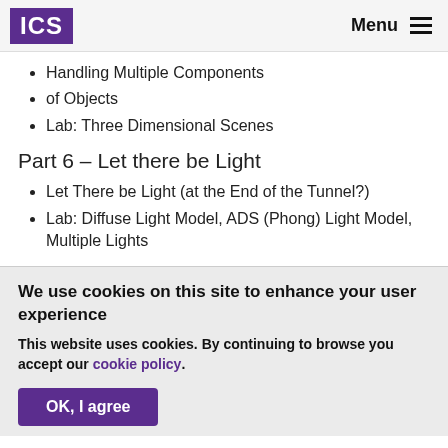ICS    Menu
Handling Multiple Components
of Objects
Lab: Three Dimensional Scenes
Part 6 – Let there be Light
Let There be Light (at the End of the Tunnel?)
Lab: Diffuse Light Model, ADS (Phong) Light Model, Multiple Lights
We use cookies on this site to enhance your user experience
This website uses cookies. By continuing to browse you accept our cookie policy.
OK, I agree